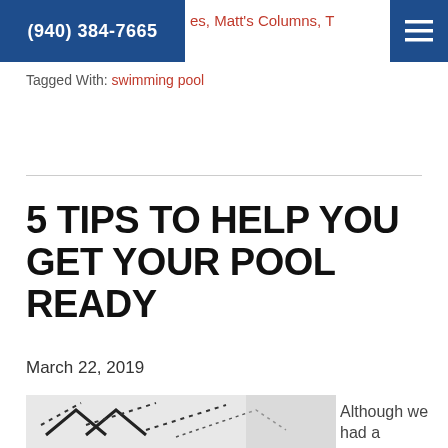(940) 384-7665 | es, Matt's Columns, T [hamburger menu]
Tagged With: swimming pool
5 TIPS TO HELP YOU GET YOUR POOL READY
March 22, 2019
[Figure (photo): Partial image of pool-related graphic, appears to show arrows or pool cover patterns in black and white]
Although we had a